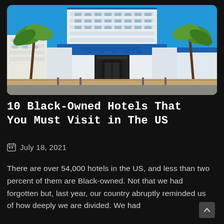[Figure (photo): Panoramic photograph of a blue-and-white multi-story hotel building on a sunny day with palm trees, blue sky, and a wide sidewalk in the foreground. The hotel has a distinctive Art Deco style with blue awnings.]
10 Black-Owned Hotels That You Must Visit in The US
July 18, 2021
There are over 54,000 hotels in the US, and less than two percent of them are Black-owned. Not that we had forgotten but, last year, our country abruptly reminded us of how deeply we are divided. We had